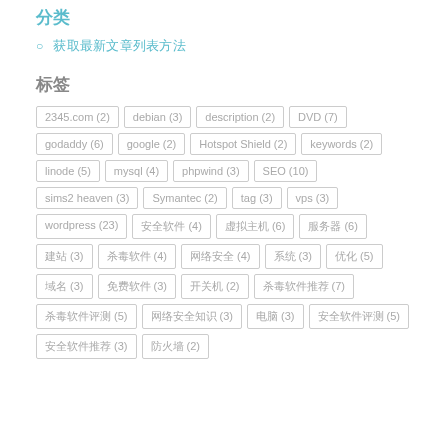分类
获取最新文章列表方法
标签
2345.com (2) debian (3) description (2) DVD (7) godaddy (6) google (2) Hotspot Shield (2) keywords (2) linode (5) mysql (4) phpwind (3) SEO (10) sims2 heaven (3) Symantec (2) tag (3) vps (3) wordpress (23) 安全软件 (4) 虚拟主机 (6) 服务器 (6) 建站 (3) 杀毒软件 (4) 网络安全 (4) 系统 (3) 优化 (5) 域名 (3) 免费软件 (3) 开关机 (2) 杀毒软件推荐 (7) 杀毒软件评测 (5) 网络安全知识 (3) 电脑 (3) 安全软件评测 (5) 安全软件推荐 (3) 防火墙 (2)